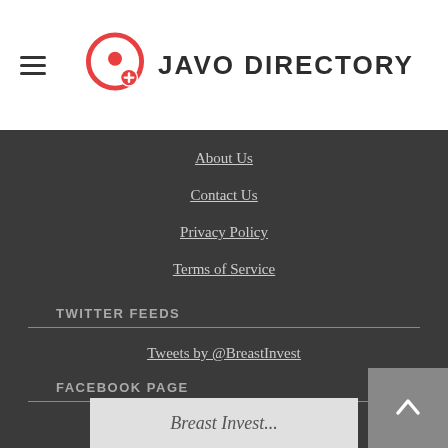[Figure (logo): Javo Directory logo: circular location pin icon in red/orange with a plus sign, next to bold text JAVO DIRECTORY]
About Us
Contact Us
Privacy Policy
Terms of Service
TWITTER FEEDS
Tweets by @BreastInvest
FACEBOOK PAGE
[Figure (other): Facebook page preview thumbnail showing partial text]